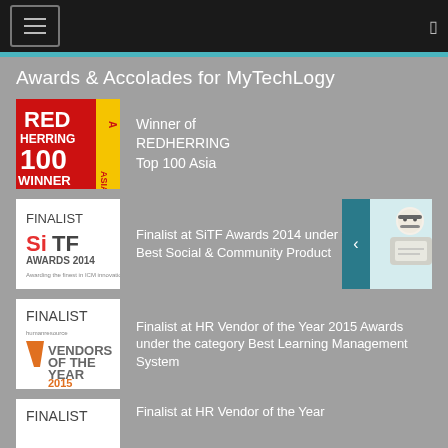Awards & Accolades for MyTechLogy
[Figure (logo): Red Herring 100 Asia Winner logo - red and yellow square badge]
Winner of REDHERRING Top 100 Asia
[Figure (logo): Finalist SiTF Awards 2014 logo - white box with colorful SiTF text]
Finalist at SiTF Awards 2014 under the category Best Social & Community Product
[Figure (logo): Finalist HR Vendors of the Year 2015 logo - white box with orange V icon]
Finalist at HR Vendor of the Year 2015 Awards under the category Best Learning Management System
[Figure (logo): Finalist logo - partial view at bottom]
Finalist at HR Vendor of the Year